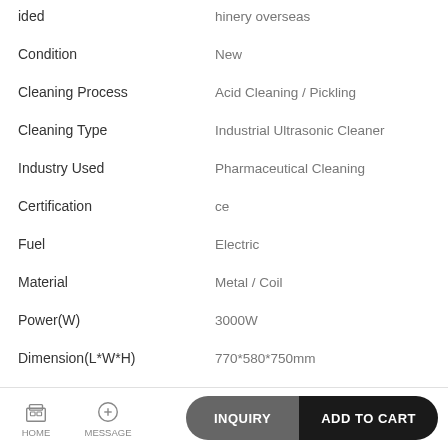| Attribute | Value |
| --- | --- |
| ided | hinery overseas |
| Condition | New |
| Cleaning Process | Acid Cleaning / Pickling |
| Cleaning Type | Industrial Ultrasonic Cleaner |
| Industry Used | Pharmaceutical Cleaning |
| Certification | ce |
| Fuel | Electric |
| Material | Metal / Coil |
| Power(W) | 3000W |
| Dimension(L*W*H) | 770*580*750mm |
HOME | MESSAGE | INQUIRY | ADD TO CART